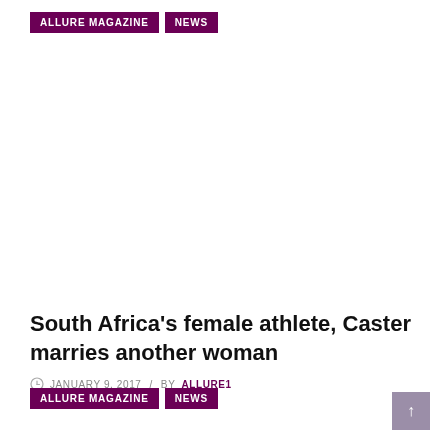ALLURE MAGAZINE  NEWS
South Africa's female athlete, Caster marries another woman
JANUARY 9, 2017 / BY ALLURE1
ALLURE MAGAZINE  NEWS